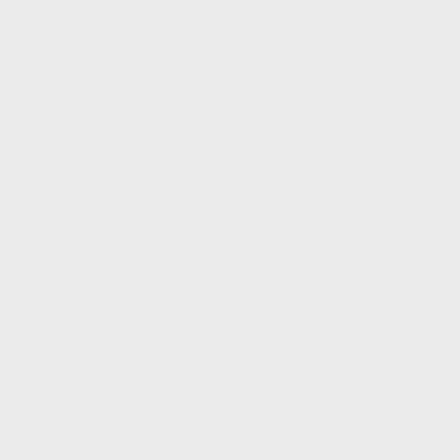bought at Amazon] for less than $600. If that is within the limit Cueball gives of a few hundred dollars can be [[1070: Words for Small Sets|debated]]... A [http://shop.usa.canon.com/shop/en/catalog/powershot-sx60-hs-refurbished|Canon SX-60, refurbished] with